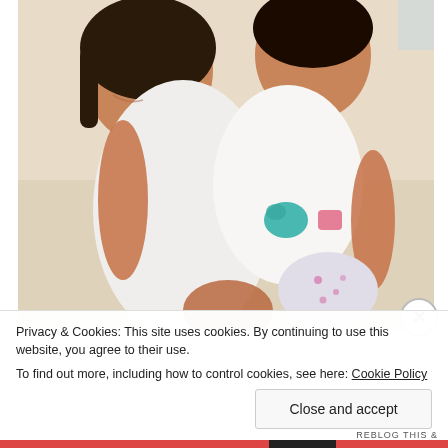[Figure (photo): Two young children (sisters) hugging and smiling. The older girl hugs the younger toddler from behind. Both are wearing light-colored clothing. The background is a light beige/cream floor.]
Privacy & Cookies: This site uses cookies. By continuing to use this website, you agree to their use.
To find out more, including how to control cookies, see here: Cookie Policy
Close and accept